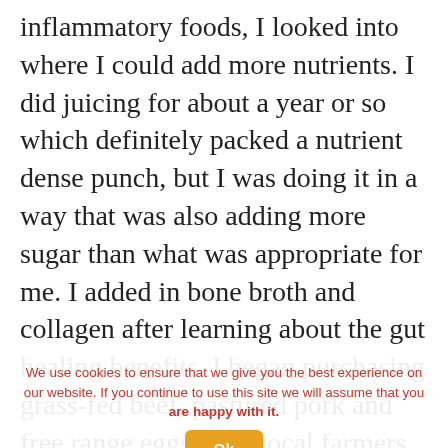inflammatory foods, I looked into where I could add more nutrients. I did juicing for about a year or so which definitely packed a nutrient dense punch, but I was doing it in a way that was also adding more sugar than what was appropriate for me. I added in bone broth and collagen after learning about the gut healing benefits. I began purchasing grass-fed beef, pastured pork and free range eggs from local farmers to get in healthier sources of protein. I chose to purchase most of my produce as organic. These simple, but impactful changes helped ensure that I was getting in
We use cookies to ensure that we give you the best experience on our website. If you continue to use this site we will assume that you are happy with it.